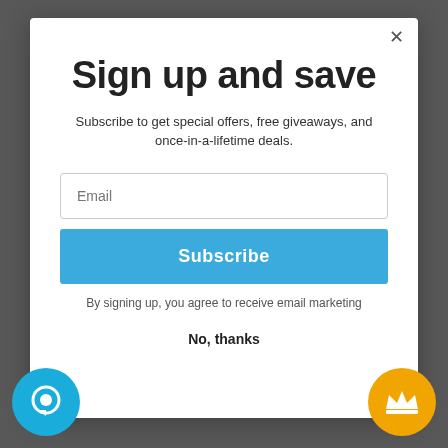Sign up and save
Subscribe to get special offers, free giveaways, and once-in-a-lifetime deals.
Email
Subscribe
By signing up, you agree to receive email marketing
No, thanks